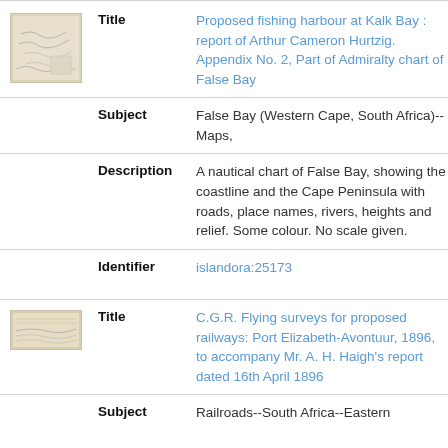[Figure (illustration): Thumbnail image of a nautical chart map of False Bay]
| Title | Proposed fishing harbour at Kalk Bay : report of Arthur Cameron Hurtzig. Appendix No. 2, Part of Admiralty chart of False Bay |
| Subject | False Bay (Western Cape, South Africa)--Maps, |
| Description | A nautical chart of False Bay, showing the coastline and the Cape Peninsula with roads, place names, rivers, heights and relief. Some colour. No scale given. |
| Identifier | islandora:25173 |
[Figure (illustration): Thumbnail image of a railway survey map]
| Title | C.G.R. Flying surveys for proposed railways: Port Elizabeth-Avontuur, 1896, to accompany Mr. A. H. Haigh's report dated 16th April 1896 |
| Subject | Railroads--South Africa--Eastern |